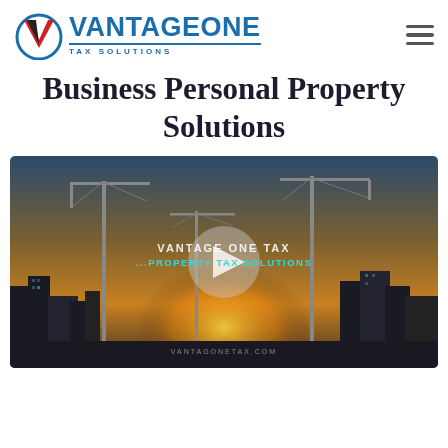[Figure (logo): VantageOne Tax Solutions logo with stylized V icon in blue and red, and company name 'VANTAGEONE' in bold blue with 'TAX SOLUTIONS' subtitle]
Business Personal Property Solutions
[Figure (screenshot): Video thumbnail showing a city skyline with construction cranes at sunset/dusk. A semi-transparent play button is visible in the center. Text overlay reads 'VANTAGE ONE TAX' and '...PROPERTY TAX SOLUTIONS' in teal. Website watermark 'VANTAGONETAX.COM' at the bottom.]